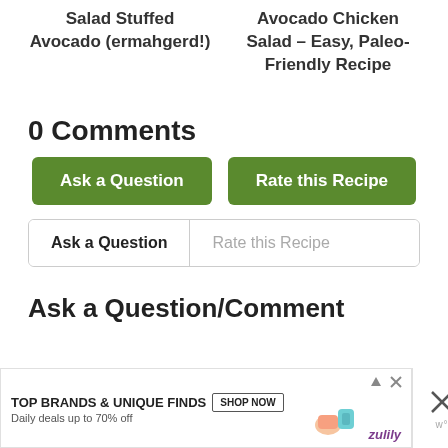Salad Stuffed Avocado (ermahgerd!)
Avocado Chicken Salad – Easy, Paleo-Friendly Recipe
0 Comments
Ask a Question
Rate this Recipe
Ask a Question
Rate this Recipe
Ask a Question/Comment
[Figure (infographic): Advertisement banner: TOP BRANDS & UNIQUE FINDS, Daily deals up to 70% off, SHOP NOW button, zulily branding with shoe and bag imagery]